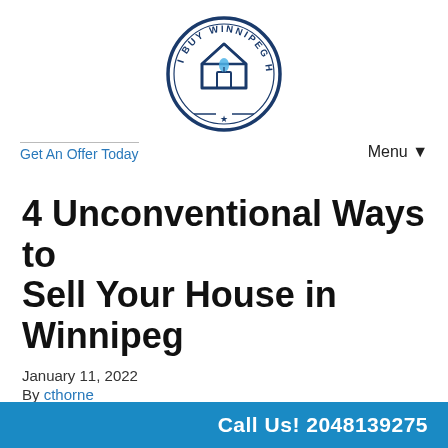[Figure (logo): I Buy Winnipeg Houses circular logo with house icon and leaf, dark blue border]
Get An Offer Today
Menu ▼
4 Unconventional Ways to Sell Your House in Winnipeg
January 11, 2022
By cthorne
Do you need to sell your house in Winnipeg? When most people consider selling their home, they immediately picture calling a real estate agent and listing their home…
Call Us! 2048139275